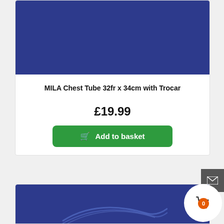[Figure (photo): Blue background product image for MILA Chest Tube 32fr x 34cm with Trocar]
MILA Chest Tube 32fr x 34cm with Trocar
£19.99
Add to basket
[Figure (photo): Blue background product image for a second product with curved tube illustration]